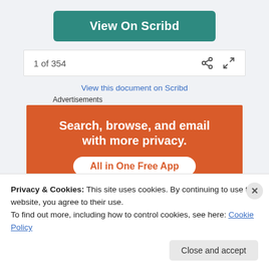View On Scribd
1 of 354
View this document on Scribd
Advertisements
[Figure (illustration): Orange advertisement banner reading 'Search, browse, and email with more privacy. All in One Free App' with white text and a call-to-action button, on an orange background with a dark phone arc at the bottom.]
Privacy & Cookies: This site uses cookies. By continuing to use this website, you agree to their use.
To find out more, including how to control cookies, see here: Cookie Policy
Close and accept